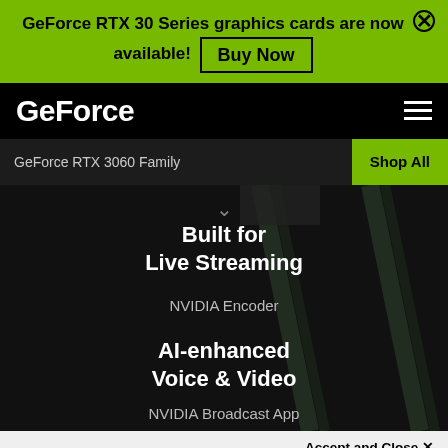GeForce RTX 30 Series graphics cards are now available! Buy Now
GeForce
GeForce RTX 3060 Family
Shop All
Built for Live Streaming
NVIDIA Encoder
AI-enhanced Voice & Video
NVIDIA Broadcast App
Accept and Close ✕
Your browser settings do not allow cross-site tracking for advertising. Click on this page to allow AdRoll to use cross-site tracking to tailor ads to you. Learn more or opt out of this AdRoll tracking by clicking here. This message only appears once.